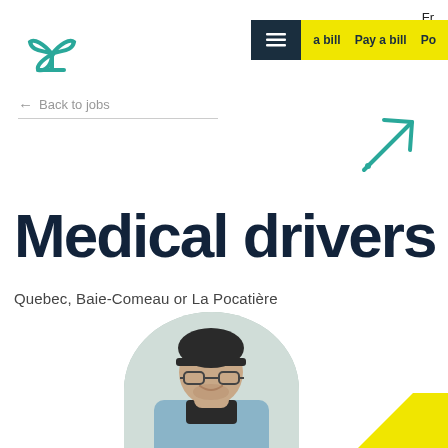[Figure (logo): Teal three-pronged propeller/fan logo mark]
Fr
≡  a bill  Pay a bill  Po
← Back to jobs
Medical drivers
Quebec, Baie-Comeau or La Pocatière
[Figure (photo): Young man wearing glasses and a dark cap, smiling, in a light blue shirt, circular cropped portrait photo]
[Figure (illustration): Teal diagonal arrow pointing upper-right]